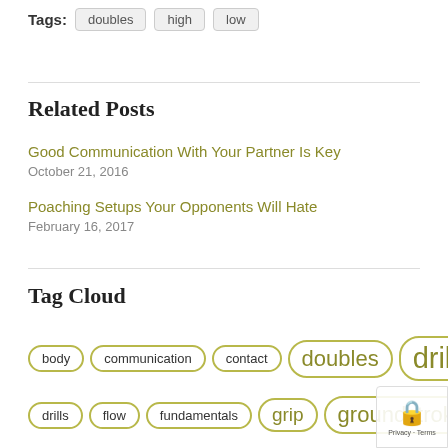Tags: doubles high low
Related Posts
Good Communication With Your Partner Is Key
October 21, 2016
Poaching Setups Your Opponents Will Hate
February 16, 2017
Tag Cloud
body  communication  contact  doubles  drill
drills  flow  fundamentals  grip  groundstroke